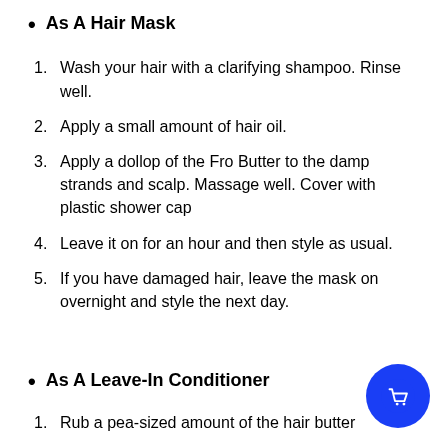As A Hair Mask
1. Wash your hair with a clarifying shampoo. Rinse well.
2. Apply a small amount of hair oil.
3. Apply a dollop of the Fro Butter to the damp strands and scalp. Massage well. Cover with plastic shower cap
4. Leave it on for an hour and then style as usual.
5. If you have damaged hair, leave the mask on overnight and style the next day.
As A Leave-In Conditioner
1. Rub a pea-sized amount of the hair butter